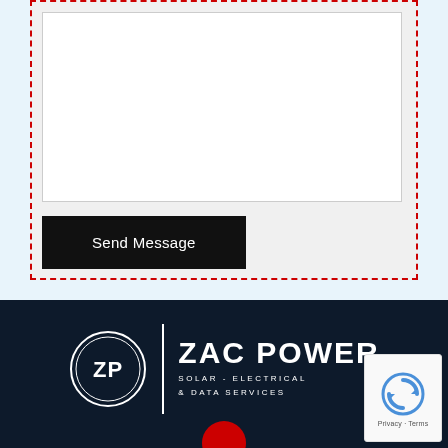[Figure (screenshot): Web contact form section with a white textarea input box inside a light grey container with a red dashed border, and a black 'Send Message' button. Background is light blue.]
[Figure (logo): Zac Power Solar - Electrical & Data Services logo on dark navy background. Consists of a circular ZP emblem, a vertical white divider line, and text 'ZAC POWER' in bold with subtitle 'SOLAR - ELECTRICAL & DATA SERVICES' in spaced uppercase letters.]